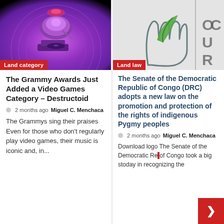[Figure (photo): Grammy Award trophy with purple/pink glowing background]
Land category
[Figure (illustration): Logo with green leaf/hand outline and DRC text on grey background]
Land law
The Grammy Awards Just Added a Video Games Category – Destructoid
🕐  2 months ago  Miguel C. Menchaca
The Grammys sing their praises Even for those who don't regularly play video games, their music is iconic and, in...
The Senate of the Democratic Republic of Congo (DRC) adopts a new law on the promotion and protection of the rights of indigenous Pygmy peoples
🕐  2 months ago  Miguel C. Menchaca
Download logo The Senate of the Democratic Republic of Congo took a big step today in recognizing the...